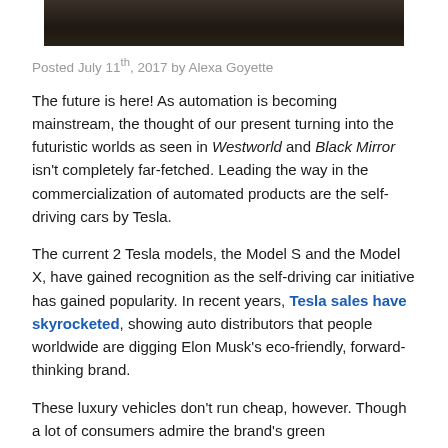[Figure (photo): Dark textured background photo strip at top of page]
Posted July 11th, 2017 by Alexa Goyette
The future is here! As automation is becoming mainstream, the thought of our present turning into the futuristic worlds as seen in Westworld and Black Mirror isn't completely far-fetched. Leading the way in the commercialization of automated products are the self-driving cars by Tesla.
The current 2 Tesla models, the Model S and the Model X, have gained recognition as the self-driving car initiative has gained popularity. In recent years, Tesla sales have skyrocketed, showing auto distributors that people worldwide are digging Elon Musk's eco-friendly, forward-thinking brand.
These luxury vehicles don't run cheap, however. Though a lot of consumers admire the brand's green technologies, many can't afford the ticket price. Other plug-ins, like the Nissan Leaf, are more on the radars of people with a tight budget. But the Tesla – with its sleek look and iconic marketing strategies – still beckon those with even the tightest budgets. Owning and insuring a Tesla has its drawbacks and its perks economically; while the ticket price and insurance rates